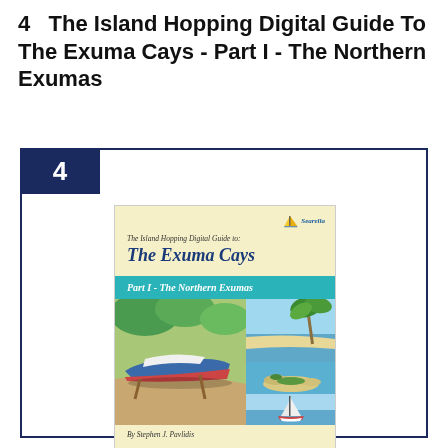4   The Island Hopping Digital Guide To The Exuma Cays - Part I - The Northern Exumas
[Figure (illustration): Book cover of 'The Island Hopping Digital Guide to The Exuma Cays – Part I - The Northern Exumas' by Stephen J. Pavlidis. Yellow cream background with teal band, featuring photos of a boat, tropical beach, islands, and a sailboat.]